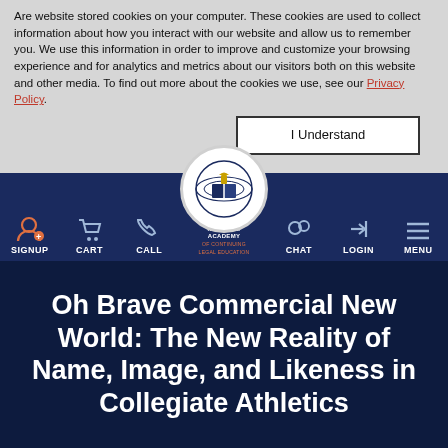Are website stored cookies on your computer. These cookies are used to collect information about how you interact with our website and allow us to remember you. We use this information in order to improve and customize your browsing experience and for analytics and metrics about our visitors both on this website and other media. To find out more about the cookies we use, see our Privacy Policy.
[Figure (screenshot): Navigation bar of National Academy of Continuing Legal Education website with icons for SIGNUP, CART, CALL, logo, CHAT, LOGIN, MENU]
Oh Brave Commercial New World: The New Reality of Name, Image, and Likeness in Collegiate Athletics